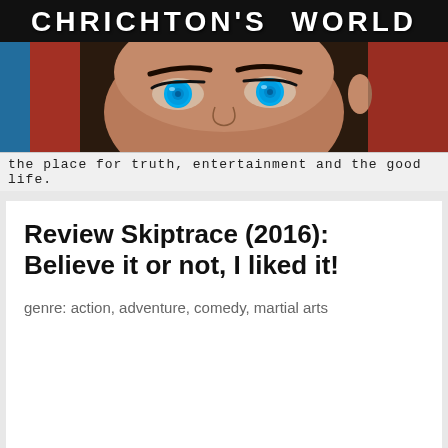[Figure (illustration): Website banner header for 'Chrichton's World' blog showing the title in white bold letters on black background, with a close-up stylized image of a woman's eyes with bright blue irises on a dark/red background below]
the place for truth, entertainment and the good life.
Review Skiptrace (2016): Believe it or not, I liked it!
genre: action, adventure, comedy, martial arts